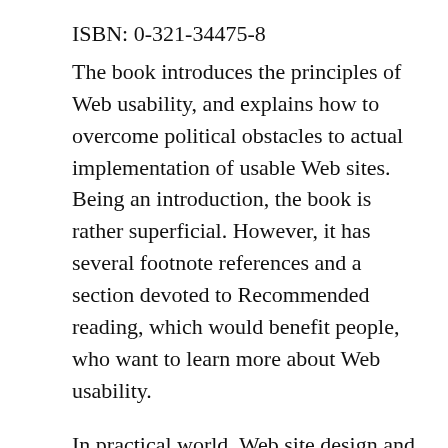ISBN: 0-321-34475-8
The book introduces the principles of Web usability, and explains how to overcome political obstacles to actual implementation of usable Web sites. Being an introduction, the book is rather superficial. However, it has several footnote references and a section devoted to Recommended reading, which would benefit people, who want to learn more about Web usability.
In practical world, Web site design and implementation is fraught with politics, due to the large number of stakeholders in a typical organization. The book covers the political aspects as well, even though its title does not